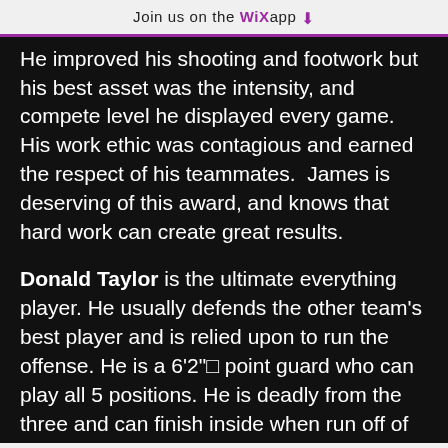Join us on the WiX app ↓
He improved his shooting and footwork but his best asset was the intensity, and compete level he displayed every game.  His work ethic was contagious and earned the respect of his teammates.  James is deserving of this award, and knows that hard work can create great results.
Donald Taylor is the ultimate everything player. He usually defends the other team's best player and is relied upon to run the offense. He is a 6'2"□ point guard who can play all 5 positions. He is deadly from the three and can finish inside when run off of the line. He can score through double teams but is a great passer who always finds